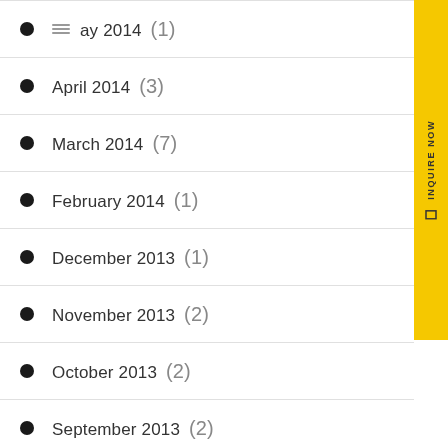May 2014 (1)
April 2014 (3)
March 2014 (7)
February 2014 (1)
December 2013 (1)
November 2013 (2)
October 2013 (2)
September 2013 (2)
July 2013 (1)
June 2013 (1)